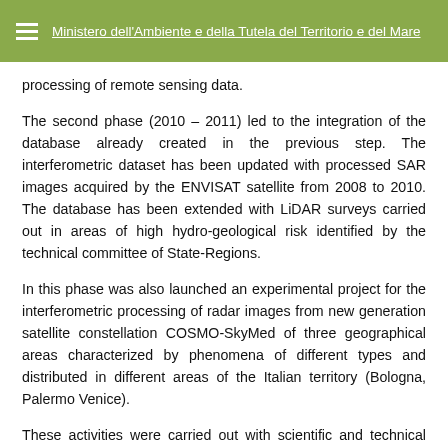Ministero dell'Ambiente e della Tutela del Territorio e del Mare
processing of remote sensing data.
The second phase (2010 – 2011) led to the integration of the database already created in the previous step. The interferometric dataset has been updated with processed SAR images acquired by the ENVISAT satellite from 2008 to 2010. The database has been extended with LiDAR surveys carried out in areas of high hydro-geological risk identified by the technical committee of State-Regions.
In this phase was also launched an experimental project for the interferometric processing of radar images from new generation satellite constellation COSMO-SkyMed of three geographical areas characterized by phenomena of different types and distributed in different areas of the Italian territory (Bologna, Palermo Venice).
These activities were carried out with scientific and technical cooperation of two Universities: